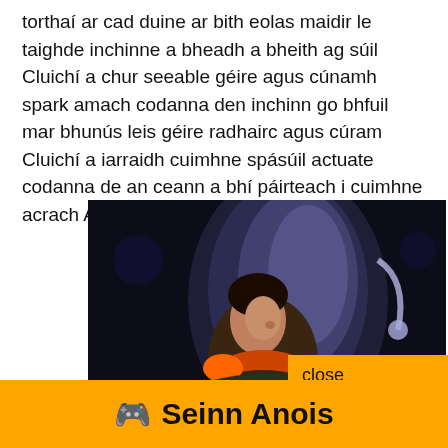torthaí ar cad duine ar bith eolas maidir le taighde inchinne a bheadh a bheith ag súil Cluichí a chur seeable géire agus cúnamh spark amach codanna den inchinn go bhfuil mar bhunús leis géire radhairc agus cúram Cluichí a iarraidh cuimhne spásúil actuate codanna de an ceann a bhí páirteach i cuimhne acrach Agus mar sin de
[Figure (screenshot): A screenshot of an animated game character (a young male with dark hair wearing a futuristic suit) sitting in a glowing chair or pod, with a dark background and sci-fi elements. An orange overlay box with 'close' text appears in the lower right of the image.]
close
[Figure (photo): A partial image strip showing a warm beige/tan colored surface or object, partially visible at the bottom of the image area.]
🎮 Seinn Anois